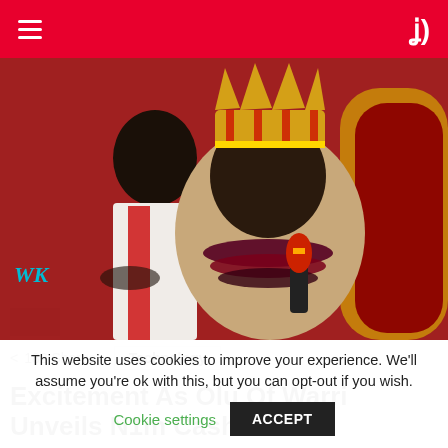Navigation bar with hamburger menu and dark mode icon
[Figure (photo): A man wearing a golden crown and traditional Urhobo attire with red and gold beaded necklaces, holding a microphone with a red and yellow cover, seated in a golden and red throne-like chair. Another man in white clothing stands behind him. Red backdrop visible.]
WK
182 Shares
Technology
Excitement As Olu Of Warri Unveils N1m Cash
This website uses cookies to improve your experience. We'll assume you're ok with this, but you can opt-out if you wish.
Cookie settings
ACCEPT